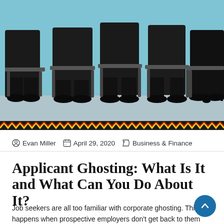[Figure (photo): Row of job applicants seated in chairs in a waiting room, visible from the waist down, all wearing dark formal attire and dress shoes, with a light teal/blue-green wall in the background.]
Evan Miller  April 29, 2020  Business & Finance
Applicant Ghosting: What Is It and What Can You Do About It?
Job seekers are all too familiar with corporate ghosting. This happens when prospective employers don't get back to them regarding their job application, even if it's just to let them know they didn't get the position. This silence on the employers' side...